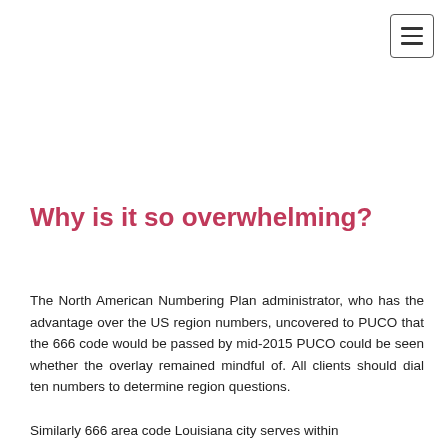[Figure (other): Hamburger menu navigation button in top-right corner]
Why is it so overwhelming?
The North American Numbering Plan administrator, who has the advantage over the US region numbers, uncovered to PUCO that the 666 code would be passed by mid-2015 PUCO could be seen whether the overlay remained mindful of. All clients should dial ten numbers to determine region questions.
Similarly 666 area code Louisiana city serves within